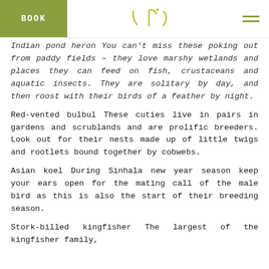BOOK | tri | menu
Indian pond heron You can't miss these poking out from paddy fields – they love marshy wetlands and places they can feed on fish, crustaceans and aquatic insects. They are solitary by day, and then roost with their birds of a feather by night.
Red-vented bulbul These cuties live in pairs in gardens and scrublands and are prolific breeders. Look out for their nests made up of little twigs and rootlets bound together by cobwebs.
Asian koel During Sinhala new year season keep your ears open for the mating call of the male bird as this is also the start of their breeding season.
Stork-billed kingfisher The largest of the kingfisher family,